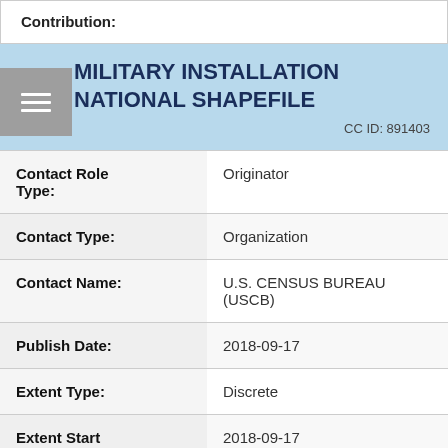Contribution:
MILITARY INSTALLATION NATIONAL SHAPEFILE
CC ID: 891403
| Field | Value |
| --- | --- |
| Contact Role Type: | Originator |
| Contact Type: | Organization |
| Contact Name: | U.S. CENSUS BUREAU (USCB) |
| Publish Date: | 2018-09-17 |
| Extent Type: | Discrete |
| Extent Start Date/Time: | 2018-09-17 |
| Citation URL: | https://www2.census.gov/ge |